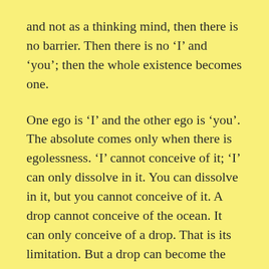and not as a thinking mind, then there is no barrier. Then there is no ‘I’ and ‘you’; then the whole existence becomes one.
One ego is ‘I’ and the other ego is ‘you’. The absolute comes only when there is egolessness. ‘I’ cannot conceive of it; ‘I’ can only dissolve in it. You can dissolve in it, but you cannot conceive of it. A drop cannot conceive of the ocean. It can only conceive of a drop. That is its limitation. But a drop can become the ocean, it can drop into it and be one with it. Only then does it come to know the ocean – through becoming, not through thinking. It becomes one with it.